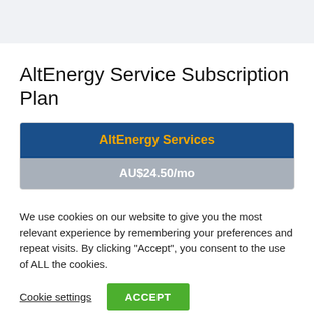AltEnergy Service Subscription Plan
| AltEnergy Services |
| --- |
| AU$24.50/mo |
We use cookies on our website to give you the most relevant experience by remembering your preferences and repeat visits. By clicking “Accept”, you consent to the use of ALL the cookies.
Cookie settings
ACCEPT